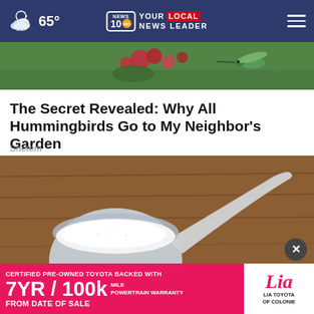65° NEWS 10 abc YOUR LOCAL NEWS LEADER
[Figure (photo): Hummingbird near red flowers, cropped strip at top of article]
The Secret Revealed: Why All Hummingbirds Go to My Neighbor's Garden
Sherem
[Figure (photo): A clear plastic measuring scoop filled with white powder/sugar on a wooden surface]
[Figure (other): Advertisement: CERTIFIED PRE-OWNED TOYOTA BACKED WITH 7YR / 100k MILE POWERTRAIN WARRANTY FROM DATE OF SALE — Lia Toyota of Colonie]